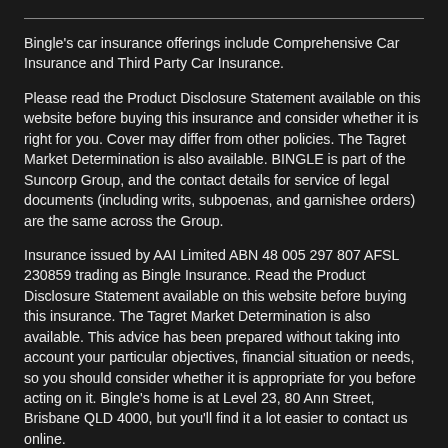Bingle's car insurance offerings include Comprehensive Car Insurance and Third Party Car Insurance.
Please read the Product Disclosure Statement available on this website before buying this insurance and consider whether it is right for you. Cover may differ from other policies. The Tagret Market Determination is also available. BINGLE is part of the Suncorp Group, and the contact details for service of legal documents (including writs, subpoenas, and garnishee orders) are the same across the Group.
Insurance issued by AAI Limited ABN 48 005 297 807 AFSL 230859 trading as Bingle Insurance. Read the Product Disclosure Statement available on this website before buying this insurance. The Tagret Market Determination is also available. This advice has been prepared without taking into account your particular objectives, financial situation or needs, so you should consider whether it is appropriate for you before acting on it. Bingle's home is at Level 23, 80 Ann Street, Brisbane QLD 4000, but you'll find it a lot easier to contact us online.